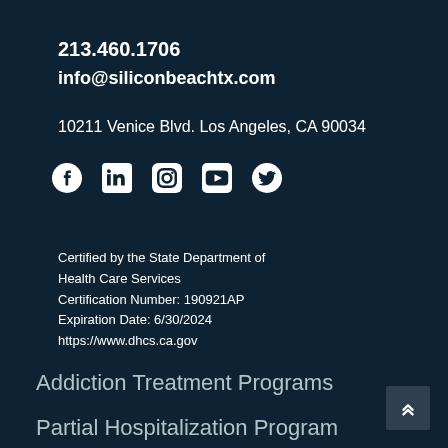213.460.1706
info@siliconbeachtx.com
10211 Venice Blvd. Los Angeles, CA 90034
[Figure (illustration): Social media icons: Facebook, LinkedIn, Instagram, YouTube, Twitter]
Certified by the State Department of Health Care Services
Certification Number: 190921AP
Expiration Date: 6/30/2024
https://www.dhcs.ca.gov
Addiction Treatment Programs
Partial Hospitalization Program